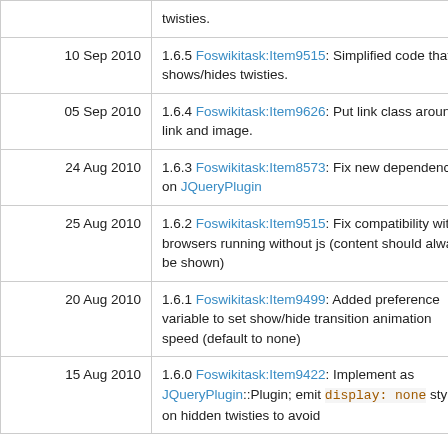| Date | Description |
| --- | --- |
|  | twisties. |
| 10 Sep 2010 | 1.6.5 Foswikitask:Item9515: Simplified code that shows/hides twisties. |
| 05 Sep 2010 | 1.6.4 Foswikitask:Item9626: Put link class around link and image. |
| 24 Aug 2010 | 1.6.3 Foswikitask:Item8573: Fix new dependency on JQueryPlugin |
| 25 Aug 2010 | 1.6.2 Foswikitask:Item9515: Fix compatibility with browsers running without js (content should always be shown) |
| 20 Aug 2010 | 1.6.1 Foswikitask:Item9499: Added preference variable to set show/hide transition animation speed (default to none) |
| 15 Aug 2010 | 1.6.0 Foswikitask:Item9422: Implement as JQueryPlugin::Plugin; emit display: none style on hidden twisties to avoid |